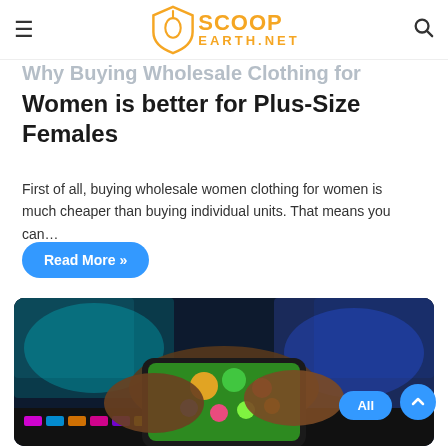ScoopEarth.net
Why Buying Wholesale Clothing for Women is better for Plus-Size Females
First of all, buying wholesale women clothing for women is much cheaper than buying individual units. That means you can…
Read More »
[Figure (photo): Person holding a smartphone horizontally playing a mobile game, with a gaming keyboard with RGB lighting in the background and a monitor visible.]
All